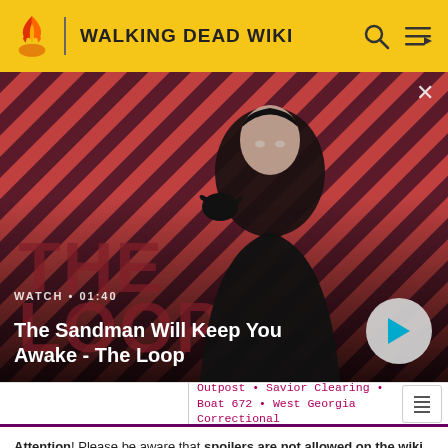WALKING DEAD WIKI
[Figure (photo): Promotional image for 'The Sandman Will Keep You Awake - The Loop' video. A pale dark-haired man in a black coat with a raven on his shoulder stands against a red and dark diagonal striped background. Text overlay shows WATCH • 01:40 and video title. A circular play button is in the bottom right.]
Outpost • Savior Clearing • Boat 672 • West Georgia Correctional
Attention! Please be aware that spoilers are not allowed on the wiki and a violation of this policy may result in a ban.
READ MORE